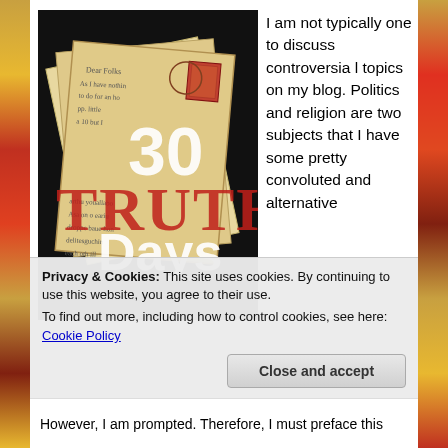[Figure (illustration): Book cover showing '30 TRUTH Days' with vintage handwritten letters/envelopes on a black background, with 'TRUTH' in large red distressed letters and '30 Days' in white text overlaid.]
I am not typically one to discuss controversial topics on my blog. Politics and religion are two subjects that I have some pretty convoluted and alternative
Privacy & Cookies: This site uses cookies. By continuing to use this website, you agree to their use.
To find out more, including how to control cookies, see here: Cookie Policy
Close and accept
However, I am prompted. Therefore, I must preface this